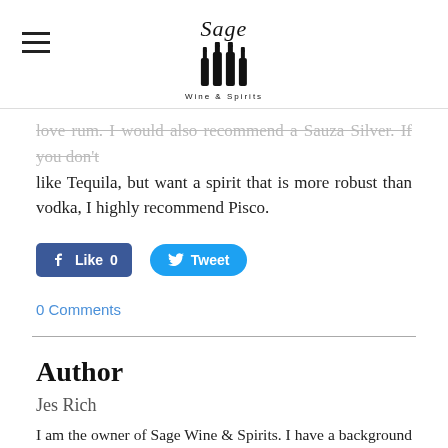Sage Wine & Spirits
...like Tequila, but want a spirit that is more robust than vodka, I highly recommend Pisco.
[Figure (other): Facebook Like button (0 likes) and Twitter Tweet button]
0 Comments
Author
Jes Rich
I am the owner of Sage Wine & Spirits. I have a background in English Literature, organic agriculture, horticulture, and of course, alcohol appreciation. This blog will reflect my own experiences in those fields. I